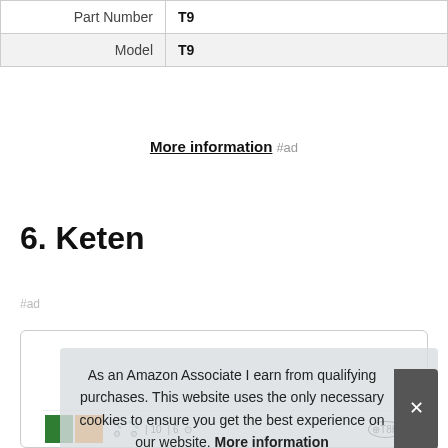| Part Number | T9 |
| Model | T9 |
More information #ad
6. Keten
#ad
As an Amazon Associate I earn from qualifying purchases. This website uses the only necessary cookies to ensure you get the best experience on our website. More information
[Figure (screenshot): Product card with icons row showing green and orange color blocks and product icons including T10, T6, T8H labels]